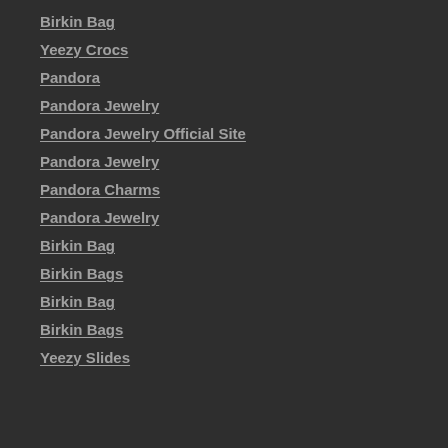Birkin Bag
Yeezy Crocs
Pandora
Pandora Jewelry
Pandora Jewelry Official Site
Pandora Jewelry
Pandora Charms
Pandora Jewelry
Birkin Bag
Birkin Bags
Birkin Bag
Birkin Bags
Yeezy Slides